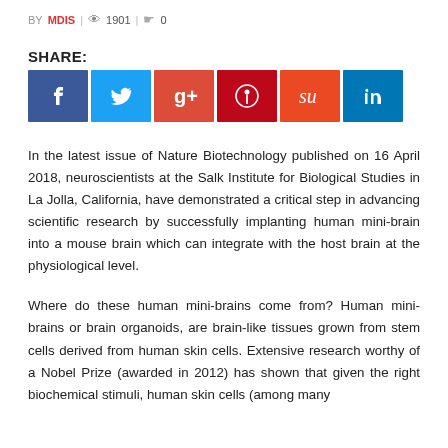BY MDIS / 1901 / 0
SHARE:
[Figure (other): Social sharing buttons: Facebook (blue), Twitter (light blue), Google+ (red-orange), Pinterest (dark red), StumbleUpon (orange-red), LinkedIn (blue)]
In the latest issue of Nature Biotechnology published on 16 April 2018, neuroscientists at the Salk Institute for Biological Studies in La Jolla, California, have demonstrated a critical step in advancing scientific research by successfully implanting human mini-brain into a mouse brain which can integrate with the host brain at the physiological level.
Where do these human mini-brains come from? Human mini-brains or brain organoids, are brain-like tissues grown from stem cells derived from human skin cells. Extensive research worthy of a Nobel Prize (awarded in 2012) has shown that given the right biochemical stimuli, human skin cells (among many